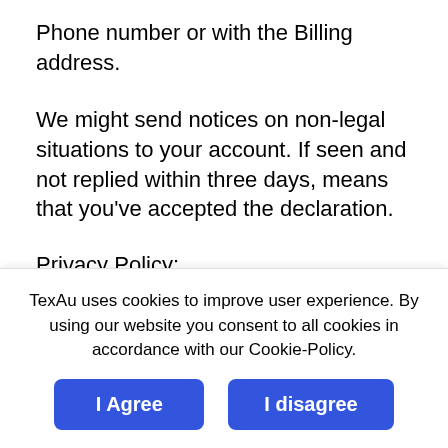Phone number or with the Billing address.
We might send notices on non-legal situations to your account. If seen and not replied within three days, means that you've accepted the declaration.
Privacy Policy:
We've listed our complete privacy policy, which
TexAu uses cookies to improve user experience. By using our website you consent to all cookies in accordance with our Cookie-Policy.